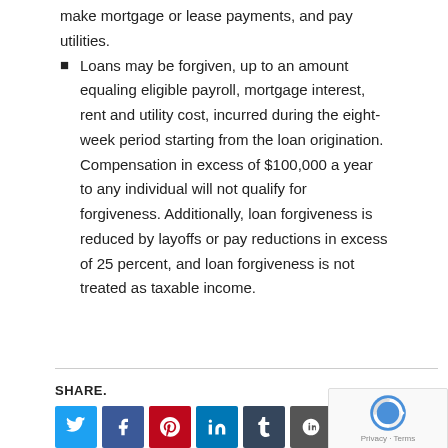make mortgage or lease payments, and pay utilities.
Loans may be forgiven, up to an amount equaling eligible payroll, mortgage interest, rent and utility cost, incurred during the eight-week period starting from the loan origination. Compensation in excess of $100,000 a year to any individual will not qualify for forgiveness. Additionally, loan forgiveness is reduced by layoffs or pay reductions in excess of 25 percent, and loan forgiveness is not treated as taxable income.
SHARE.